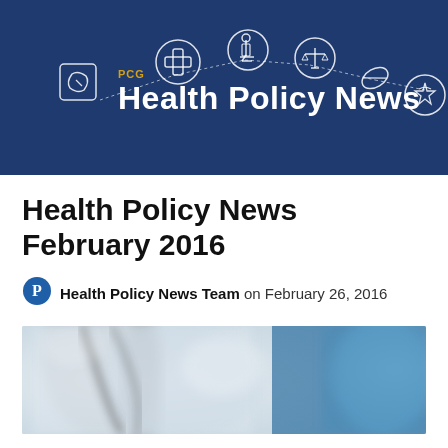[Figure (illustration): PCG Health Policy News banner with dark navy blue background featuring medical/health icons (cross, microscope, scales, pill, medical star, leaf/document) connected by dotted lines, with 'PCG' label in gold and 'Health Policy News' in large white bold text]
Health Policy News February 2016
Health Policy News Team on February 26, 2016
[Figure (photo): Blurred photo of medical setting showing what appears to be a stethoscope, white coat, and other medical equipment in soft focus blue and white tones]